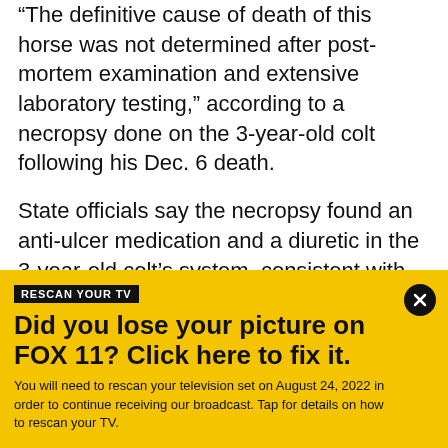"The definitive cause of death of this horse was not determined after post-mortem examination and extensive laboratory testing," according to a necropsy done on the 3-year-old colt following his Dec. 6 death.
State officials say the necropsy found an anti-ulcer medication and a diuretic in the 3-year-old colt's system, consistent with earlier reports, but "no other drugs, heavy metals or toxicants were detected."
In a statement released shortly after the horse's death, track officials said, "Following the completion of a
[Figure (infographic): Yellow promotional banner with black header label reading 'RESCAN YOUR TV', bold headline 'Did you lose your picture on FOX 11? Click here to fix it.' and body text 'You will need to rescan your television set on August 24, 2022 in order to continue receiving our broadcast. Tap for details on how to rescan your TV.' Close button (X) in top right corner.]